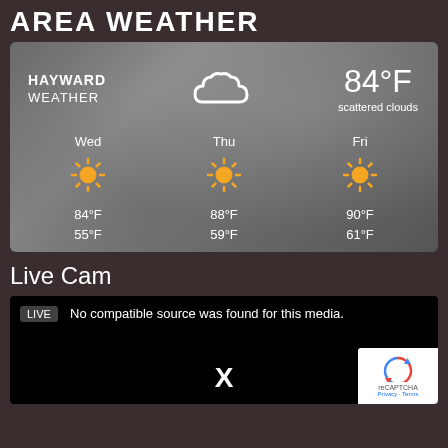AREA WEATHER
[Figure (screenshot): Weather widget showing Hayward weather with scattered clouds at 84°F, and a 3-day forecast for Wed (84°F/55°F), Thu (88°F/59°F), Fri (90°F/61°F), all sunny icons, on a cloudy grey background.]
Live Cam
[Figure (screenshot): Black video player box with LIVE badge, text 'No compatible source was found for this media.', large X close button, and reCAPTCHA badge in bottom right corner.]